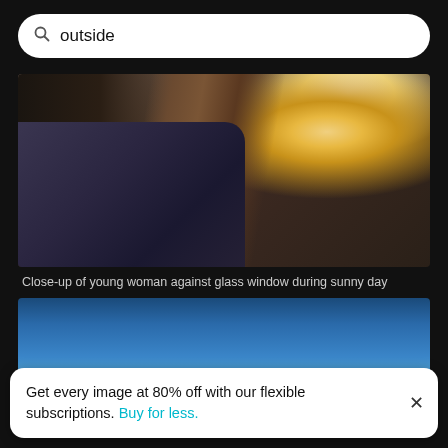outside
[Figure (photo): Close-up of young woman against glass window during sunny day — backlit with bright sunlight flare on right side, woman wearing striped shirt/jacket, hair visible in center]
Close-up of young woman against glass window during sunny day
[Figure (photo): Outdoor photo with blue sky gradient and small silhouetted figure at bottom center]
Get every image at 80% off with our flexible subscriptions. Buy for less.